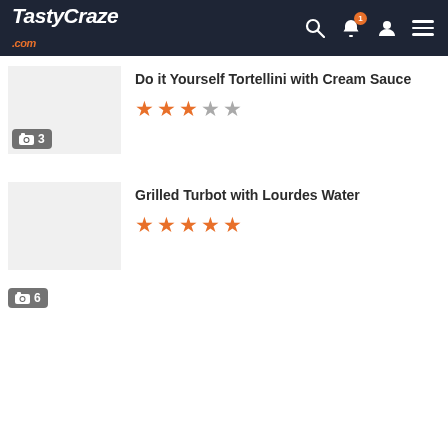TastyCraze.com
Do it Yourself Tortellini with Cream Sauce
★★★☆☆ (3 filled, 2 empty stars)
Grilled Turbot with Lourdes Water
★★★★★ (5 filled stars)